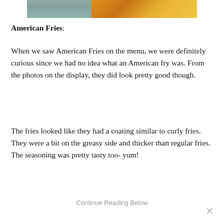[Figure (photo): Partial photo of food (appears to be fries or similar fried food) cropped at top of page]
American Fries:
When we saw American Fries on the menu, we were definitely curious since we had no idea what an American fry was. From the photos on the display, they did look pretty good though.
The fries looked like they had a coating similar to curly fries. They were a bit on the greasy side and thicker than regular fries. The seasoning was pretty tasty too- yum!
Continue Reading Below